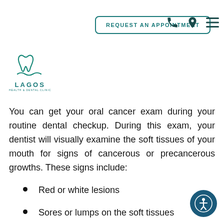[Figure (logo): Lagos dental clinic logo with tooth and wave icon above text LAGOS]
REQUEST AN APPOINTMENT
You can get your oral cancer exam during your routine dental checkup. During this exam, your dentist will visually examine the soft tissues of your mouth for signs of cancerous or precancerous growths. These signs include:
Red or white lesions
Sores or lumps on the soft tissues
Scaly patches
White, red, or speckled patches on the tongue
Bleeding gums
Difficulty chewing or swallowing